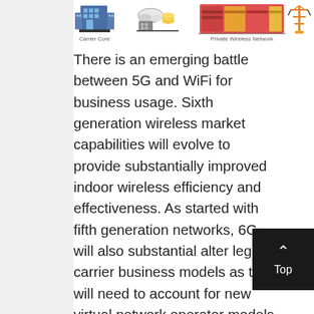[Figure (illustration): Icons representing network infrastructure: Carrier Core building icons, cloud/database icons, Private Wireless Network icons with colored blocks, and a tower/antenna icon. Labels 'Carrier Core' and 'Private Wireless Network' appear below the icons.]
There is an emerging battle between 5G and WiFi for business usage. Sixth generation wireless market capabilities will evolve to provide substantially improved indoor wireless efficiency and effectiveness. As started with fifth generation networks, 6G will also substantial alter legacy carrier business models as they will need to account for new virtual network operator models (such as a substantive expansion of neutral hosts of all types) as well as the advent of the micro-operator...